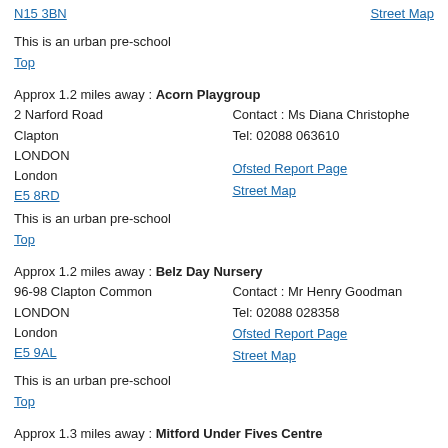N15 3BN
Street Map
This is an urban pre-school
Top
Approx 1.2 miles away : Acorn Playgroup
2 Narford Road
Clapton
LONDON
London
E5 8RD
Contact : Ms Diana Christophe
Tel: 02088 063610
Ofsted Report Page
Street Map
This is an urban pre-school
Top
Approx 1.2 miles away : Belz Day Nursery
96-98 Clapton Common
LONDON
London
E5 9AL
Contact : Mr Henry Goodman
Tel: 02088 028358
Ofsted Report Page
Street Map
This is an urban pre-school
Top
Approx 1.3 miles away : Mitford Under Fives Centre
1-3 Mitford Road
Upper Holloway
LONDON
London
Contact : Ms Susan Teece
Tel: 02072 724319
Ofsted Report Page